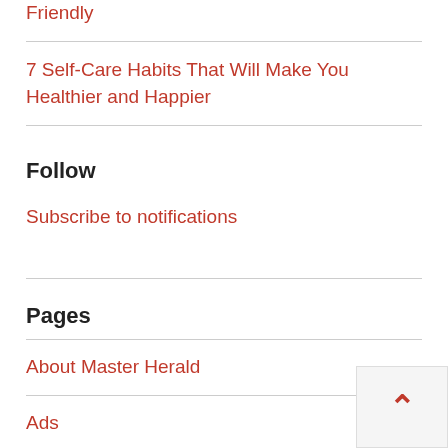Friendly
7 Self-Care Habits That Will Make You Healthier and Happier
Follow
Subscribe to notifications
Pages
About Master Herald
Ads
Contact Us